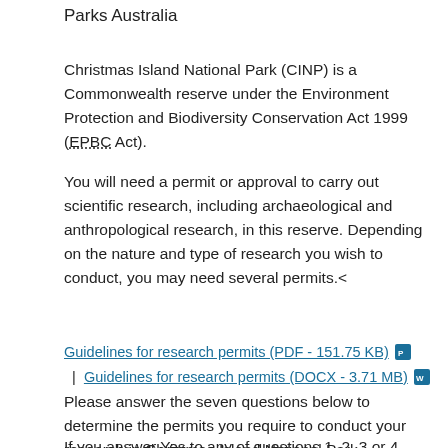Parks Australia
Christmas Island National Park (CINP) is a Commonwealth reserve under the Environment Protection and Biodiversity Conservation Act 1999 (EPBC Act).
You will need a permit or approval to carry out scientific research, including archaeological and anthropological research, in this reserve. Depending on the nature and type of research you wish to conduct, you may need several permits.<
Guidelines for research permits (PDF - 151.75 KB) | Guidelines for research permits (DOCX - 3.71 MB)
Please answer the seven questions below to determine the permits you require to conduct your research in Christmas Island National Park.
If you answer Yes to any of questions 1, 2, 3 or 4, you can